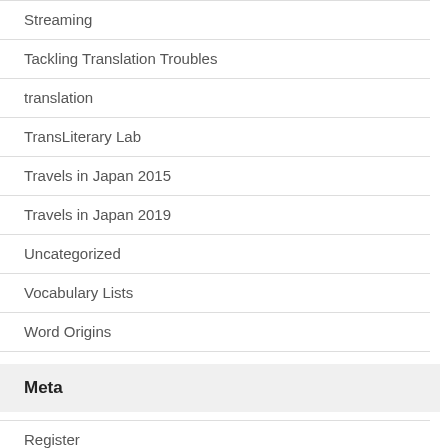Streaming
Tackling Translation Troubles
translation
TransLiterary Lab
Travels in Japan 2015
Travels in Japan 2019
Uncategorized
Vocabulary Lists
Word Origins
Meta
Register
Log in
Entries feed